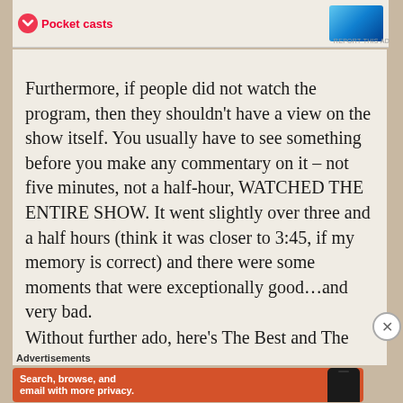[Figure (illustration): Top advertisement banner showing Pocket Casts logo and a blue branded image, with REPORT THIS AD link]
Furthermore, if people did not watch the program, then they shouldn't have a view on the show itself. You usually have to see something before you make any commentary on it – not five minutes, not a half-hour, WATCHED THE ENTIRE SHOW. It went slightly over three and a half hours (think it was closer to 3:45, if my memory is correct) and there were some moments that were exceptionally good…and very bad.
Without further ado, here's The Best and The
Advertisements
[Figure (illustration): DuckDuckGo advertisement on orange/red background: 'Search, browse, and email with more privacy. All in One Free App' with phone graphic showing DuckDuckGo logo]